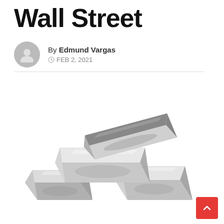Wall Street
By Edmund Vargas
FEB 2, 2021
[Figure (illustration): Stack of silver metal bars/ingots, cartoon/vector illustration style, arranged in a pile with three bars on the bottom and one on top, grey metallic coloring with highlights and shadows]